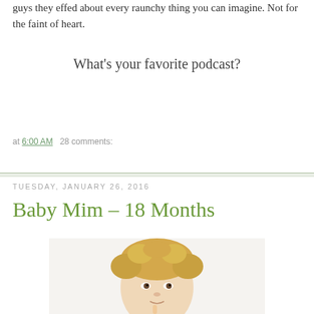guys they effed about every raunchy thing you can imagine. Not for the faint of heart.
What's your favorite podcast?
at 6:00 AM   28 comments:
TUESDAY, JANUARY 26, 2016
Baby Mim – 18 Months
[Figure (photo): Close-up photo of a baby with curly blonde hair looking at the camera with a neutral expression, photographed against a white background]